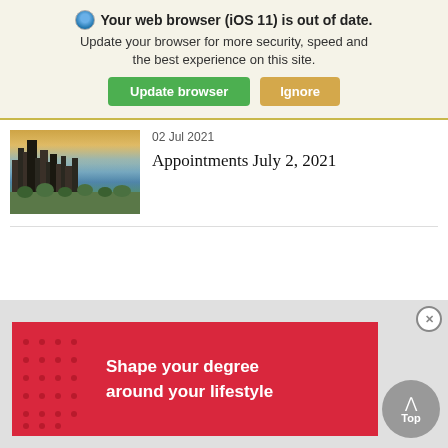🌐 Your web browser (iOS 11) is out of date. Update your browser for more security, speed and the best experience on this site. Update browser  Ignore
[Figure (photo): Cityscape photo thumbnail showing city skyline and waterfront]
02 Jul 2021
Appointments July 2, 2021
[Figure (other): Red advertisement banner: Shape your degree around your lifestyle, with decorative dot pattern on left side]